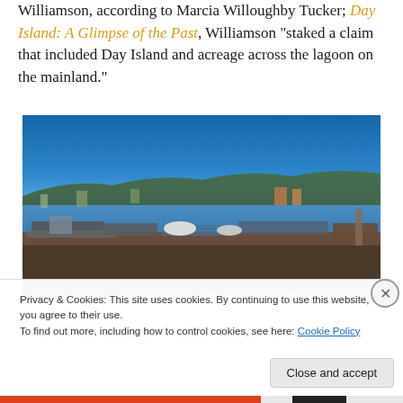Williamson, according to Marcia Willoughby Tucker; Day Island: A Glimpse of the Past, Williamson "staked a claim that included Day Island and acreage across the lagoon on the mainland."
[Figure (photo): Aerial or elevated landscape photo of Day Island waterfront area showing a marina with boats, waterfront buildings, Puget Sound water, forested hills, and clear blue sky.]
Privacy & Cookies: This site uses cookies. By continuing to use this website, you agree to their use.
To find out more, including how to control cookies, see here: Cookie Policy